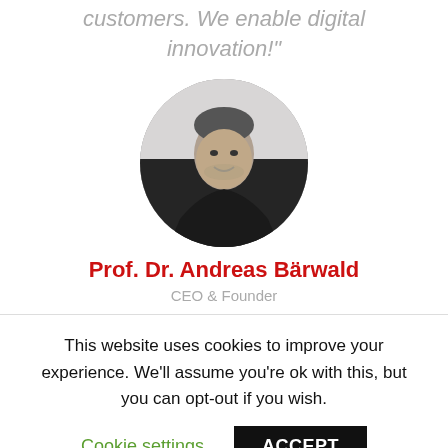customers. We enable digital innovation!"
[Figure (photo): Circular black and white portrait photo of Prof. Dr. Andreas Bärwald]
Prof. Dr. Andreas Bärwald
CEO & Founder
This website uses cookies to improve your experience. We'll assume you're ok with this, but you can opt-out if you wish.
Cookie settings   ACCEPT